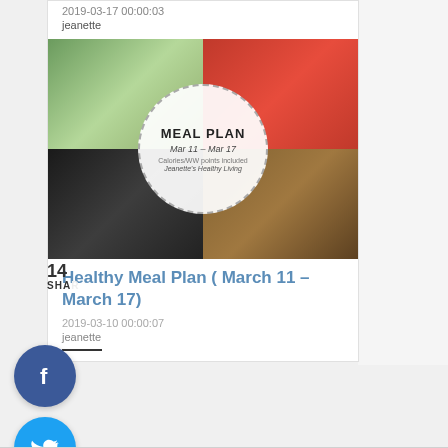2019-03-17 00:00:03
jeanette
[Figure (photo): Meal Plan photo collage with food images and circular overlay text reading: MEAL PLAN Mar 11 - Mar 17, Jeanette's Healthy Living]
Healthy Meal Plan ( March 11 – March 17)
2019-03-10 00:00:07
jeanette
[Figure (infographic): Social media sharing buttons: Facebook (blue circle with f), Twitter (light blue circle with bird), Pinterest (red circle with P and count 144), Yummly (orange circle with Yum text)]